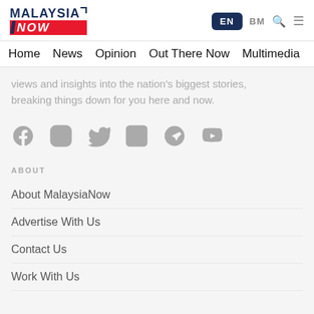[Figure (logo): MalaysiaNow logo with dark blue MALAYSIA text and red NOW banner]
EN  BM  [search] [menu]
Home  News  Opinion  Out There Now  Multimedia
views and insights into the nation's biggest stories, breaking things down for you here and now.
[Figure (infographic): Social media icons: Facebook, Instagram, Twitter, LinkedIn, Telegram, YouTube]
ABOUT
About MalaysiaNow
Advertise With Us
Contact Us
Work With Us